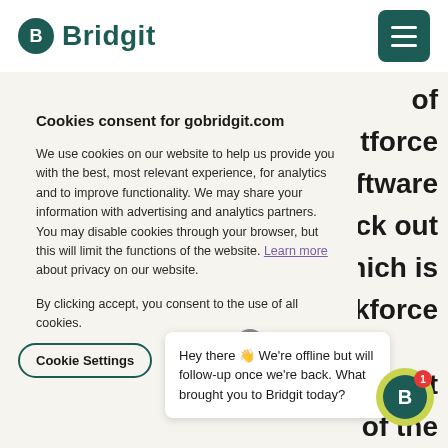[Figure (logo): Bridgit logo with circular icon on left and wordmark text on right, teal color]
[Figure (other): Hamburger menu button, teal/dark green square with three white horizontal lines]
Cookies consent for gobridgit.com
We use cookies on our website to help us provide you with the best, most relevant experience, for analytics and to improve functionality. We may share your information with advertising and analytics partners. You may disable cookies through your browser, but this will limit the functions of the website. Learn more about privacy on our website.
By clicking accept, you consent to the use of all cookies.
Cookie Settings
Hey there 👋 We're offline but will follow-up once we're back. What brought you to Bridgit today?
[Figure (logo): Bridgit chat icon - green/yellow circle with teal B logo and red notification badge showing 1]